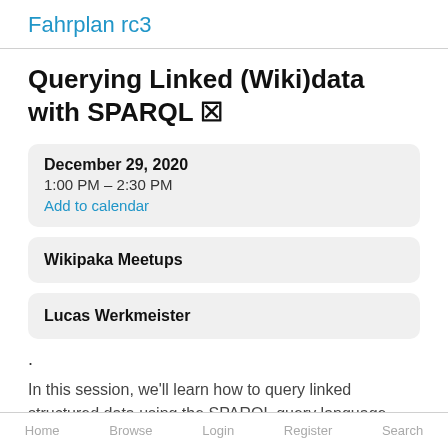Fahrplan rc3
Querying Linked (Wiki)data with SPARQL 🔗
December 29, 2020
1:00 PM – 2:30 PM
Add to calendar
Wikipaka Meetups
Lucas Werkmeister
.
In this session, we'll learn how to query linked structured data using the SPARQL query language, then have some fun exploring Wikidata, the free knowledge base.
Home   Browse   Login   Register   Search